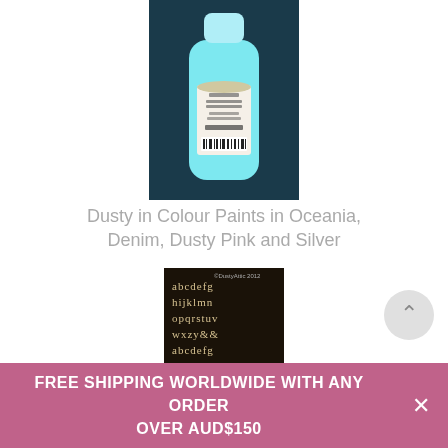[Figure (photo): A cyan/turquoise plastic bottle of Dusty Attic paint on a dark background, label reads Oceania 100mL with barcode at bottom]
Dusty in Colour Paints in Oceania, Denim, Dusty Pink and Silver
[Figure (photo): Black stencil sheet with white alphabet letters printed repeatedly in rows: abcdefg hijklmn opqrstuv wxzy&& abcdefg hijklmn opqrstuv wxzyae1 aio.ou ecc...]
FREE SHIPPING WORLDWIDE WITH ANY ORDER OVER AUD$150